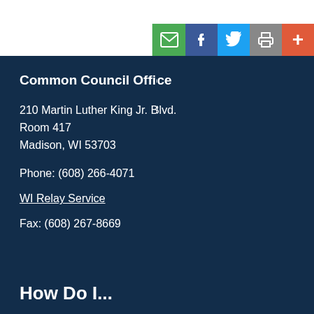[Figure (infographic): Social sharing buttons bar in top-right: email (green), Facebook (blue), Twitter (light blue), print (grey), plus/more (orange-red)]
Common Council Office
210 Martin Luther King Jr. Blvd.
Room 417
Madison, WI 53703
Phone: (608) 266-4071
WI Relay Service
Fax: (608) 267-8669
How Do I...